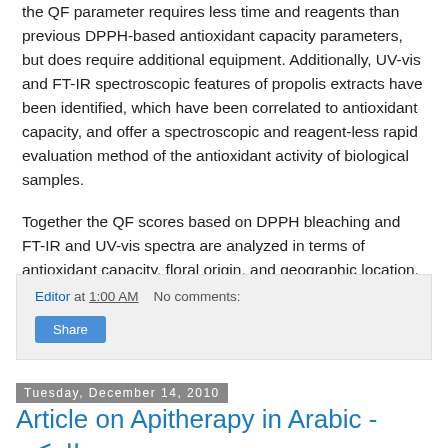the QF parameter requires less time and reagents than previous DPPH-based antioxidant capacity parameters, but does require additional equipment. Additionally, UV-vis and FT-IR spectroscopic features of propolis extracts have been identified, which have been correlated to antioxidant capacity, and offer a spectroscopic and reagent-less rapid evaluation method of the antioxidant activity of biological samples.
Together the QF scores based on DPPH bleaching and FT-IR and UV-vis spectra are analyzed in terms of antioxidant capacity, floral origin, and geographic location.
Editor at 1:00 AM    No comments:
Share
Tuesday, December 14, 2010
Article on Apitherapy in Arabic - العكبر «شمع العسل».. فوائد صحية وعلاج للأمراض